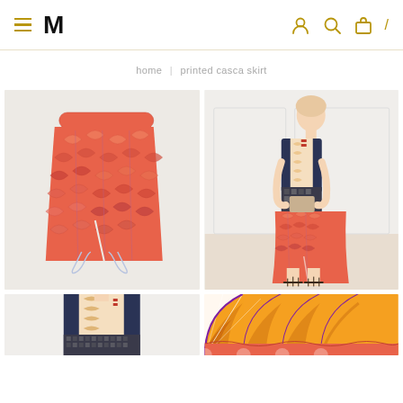≡  M  [user icon] [search icon] [bag icon] /
home | printed casca skirt
[Figure (photo): Product flat lay photo of a printed casca skirt with red/pink/orange fan/leaf pattern on light gray background]
[Figure (photo): Model wearing printed casca skirt with matching printed top, dark navy cardigan, and strappy sandals, standing in a white room]
[Figure (photo): Partial view of model wearing printed outfit, cropped at top]
[Figure (photo): Close-up detail of the printed casca skirt fabric showing fan/sunburst pattern in orange, red, and purple on white]